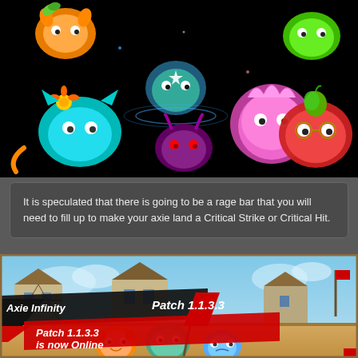[Figure (illustration): Axie Infinity creatures on dark background — various colorful blob-like creatures including orange, teal, green, pink, purple, red, and other colored axies with various accessories.]
It is speculated that there is going to be a rage bar that you will need to fill up to make your axie land a Critical Strike or Critical Hit.
[Figure (illustration): Axie Infinity Patch 1.1.3.3 is now Online — banner image with game artwork showing a fantasy town background and three axie characters in the foreground. Text overlay reads 'Axie Infinity Patch 1.1.3.3 is now Online' in bold italic white on black and red banners.]